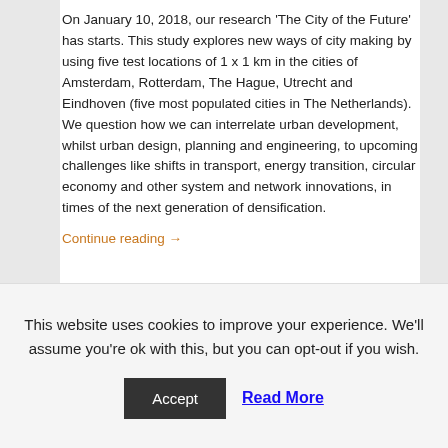On January 10, 2018, our research 'The City of the Future' has starts. This study explores new ways of city making by using five test locations of 1 x 1 km in the cities of Amsterdam, Rotterdam, The Hague, Utrecht and Eindhoven (five most populated cities in The Netherlands). We question how we can interrelate urban development, whilst urban design, planning and engineering, to upcoming challenges like shifts in transport, energy transition, circular economy and other system and network innovations, in times of the next generation of densification.
Continue reading →
Posted in accessibility, actors, agent, architecture, art, built environment, circularity, city plan, connectivity, design, energy, human design, human space, infrastructure,
This website uses cookies to improve your experience. We'll assume you're ok with this, but you can opt-out if you wish.